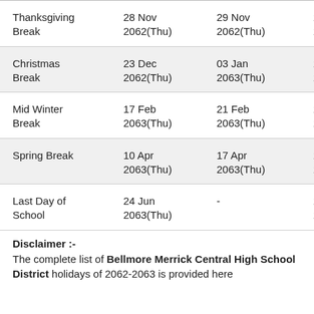| Thanksgiving Break | 28 Nov 2062(Thu) | 29 Nov 2062(Thu) | 2062-2063 |
| Christmas Break | 23 Dec 2062(Thu) | 03 Jan 2063(Thu) | 2062-2063 |
| Mid Winter Break | 17 Feb 2063(Thu) | 21 Feb 2063(Thu) | 2062-2063 |
| Spring Break | 10 Apr 2063(Thu) | 17 Apr 2063(Thu) | 2062-2063 |
| Last Day of School | 24 Jun 2063(Thu) | - | 2062-2063 |
Disclaimer :- The complete list of Bellmore Merrick Central High School District holidays of 2062-2063 is provided here